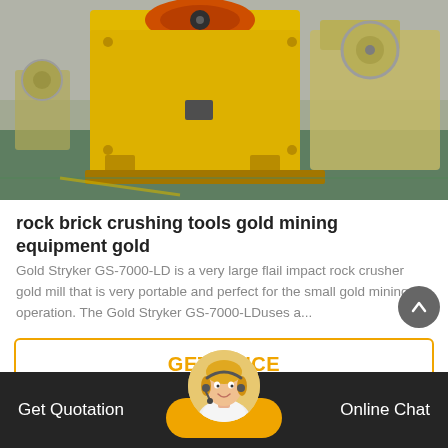[Figure (photo): Large yellow jaw crusher / rock crushing machine on factory floor, with red flywheel visible at top center. Another industrial machine visible in background right. Green floor visible.]
rock brick crushing tools gold mining equipment gold
Gold Stryker GS-7000-LD is a very large flail impact rock crusher gold mill that is very portable and perfect for the small gold mining operation. The Gold Stryker GS-7000-LDuses a...
GET PRICE
Get Quotation   Online Chat